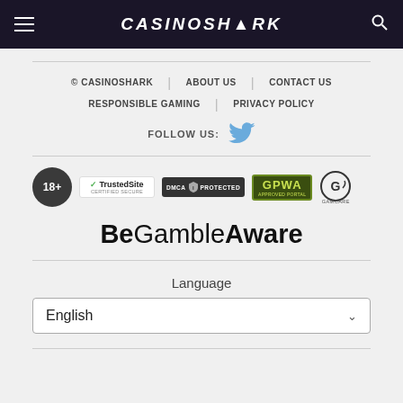CASINOSHARK
© CASINOSHARK | ABOUT US | CONTACT US
RESPONSIBLE GAMING | PRIVACY POLICY
FOLLOW US:
[Figure (logo): Trust badges row: 18+ badge, TrustedSite Certified Secure, DMCA Protected, GPWA Approved Portal, GamCare]
BeGambleAware
Language
English